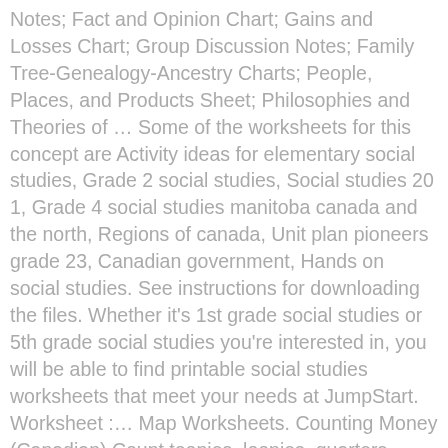Notes; Fact and Opinion Chart; Gains and Losses Chart; Group Discussion Notes; Family Tree-Genealogy-Ancestry Charts; People, Places, and Products Sheet; Philosophies and Theories of … Some of the worksheets for this concept are Activity ideas for elementary social studies, Grade 2 social studies, Social studies 20 1, Grade 4 social studies manitoba canada and the north, Regions of canada, Unit plan pioneers grade 23, Canadian government, Hands on social studies. See instructions for downloading the files. Whether it's 1st grade social studies or 5th grade social studies you're interested in, you will be able to find printable social studies worksheets that meet your needs at JumpStart. Worksheet :… Map Worksheets. Counting Money (Canadian) Count toonies, loonies, quarters, nickels, and dimes with these Canadian currency worksheets. Canadian Geography . The following files are presented in Adobe PDF and MS-Word. Cultivate responsible, active citizens by helping your students think about who they are, where they come from, and the world they